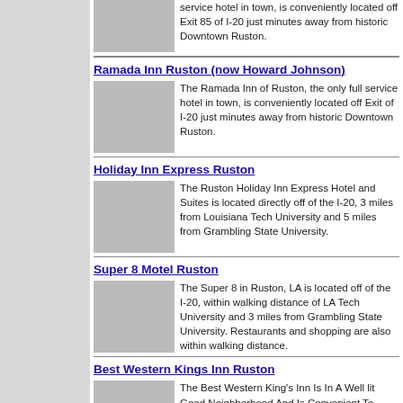service hotel in town, is conveniently located off Exit 85 of I-20 just minutes away from historic Downtown Ruston.
Ramada Inn Ruston (now Howard Johnson)
[Figure (photo): Photo of Ramada Inn Ruston exterior]
The Ramada Inn of Ruston, the only full service hotel in town, is conveniently located off Exit of I-20 just minutes away from historic Downtown Ruston.
Holiday Inn Express Ruston
[Figure (photo): Photo of Holiday Inn Express Ruston exterior]
The Ruston Holiday Inn Express Hotel and Suites is located directly off of the I-20, 3 miles from Louisiana Tech University and 5 miles from Grambling State University.
Super 8 Motel Ruston
[Figure (photo): Photo of Super 8 Motel Ruston exterior]
The Super 8 in Ruston, LA is located off of the I-20, within walking distance of LA Tech University and 3 miles from Grambling State University. Restaurants and shopping are also within walking distance.
Best Western Kings Inn Ruston
[Figure (photo): Photo of Best Western Kings Inn Ruston exterior]
The Best Western King's Inn Is In A Well lit Good Neighborhood And Is Convenient To Downtown Business District La Tech University And Area Attractions. Easy Off And Easy On Access To Interstate 20 And Us Highway 167. Restuarants Shopping And Convention Center Are Within Walking Distance.